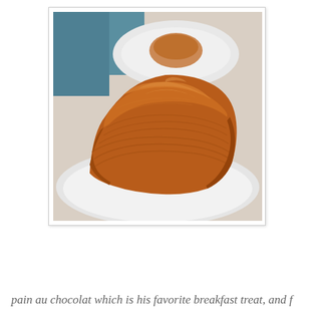[Figure (photo): Close-up photo of a large pain au chocolat (chocolate croissant) with a glossy, caramelized golden-brown surface showing flaky laminated layers, placed on a white plate. In the blurred background, another smaller pastry on a white plate is visible, with a teal/blue surface behind.]
pain au chocolat which is his favorite breakfast treat, and f...